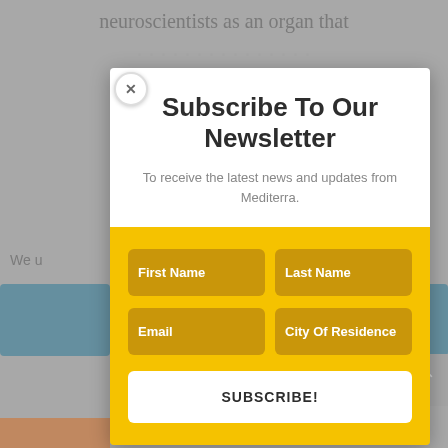neuroscientists as an organ that
information...
[Figure (screenshot): Newsletter subscription modal popup with yellow form section containing First Name, Last Name, Email, City Of Residence fields and SUBSCRIBE! button]
Subscribe To Our Newsletter
To receive the latest news and updates from Mediterra.
First Name
Last Name
Email
City Of Residence
SUBSCRIBE!